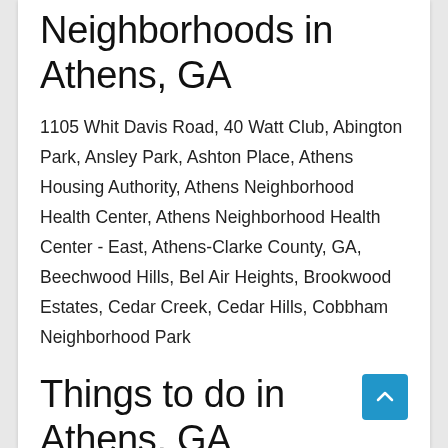Neighborhoods in Athens, GA
1105 Whit Davis Road, 40 Watt Club, Abington Park, Ansley Park, Ashton Place, Athens Housing Authority, Athens Neighborhood Health Center, Athens Neighborhood Health Center - East, Athens-Clarke County, GA, Beechwood Hills, Bel Air Heights, Brookwood Estates, Cedar Creek, Cedar Hills, Cobbham Neighborhood Park
Things to do in Athens, GA